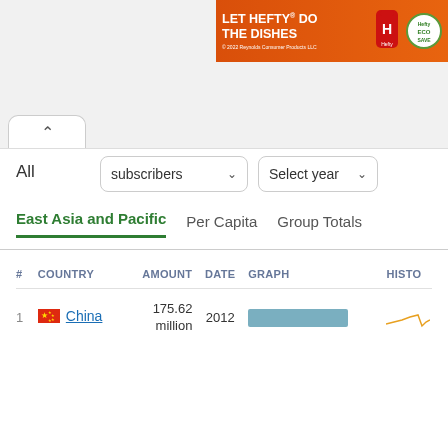[Figure (other): Advertisement banner: LET HEFTY DO THE DISHES - Reynolds Consumer Products LLC 2022, showing red Hefty bag and EcoSave logo]
[Figure (screenshot): Web UI elements: tab pill with up caret, filter bar with All label, subscribers dropdown, Select year dropdown, tabs for East Asia and Pacific / Per Capita / Group Totals]
| # | COUNTRY | AMOUNT | DATE | GRAPH | HISTO |
| --- | --- | --- | --- | --- | --- |
| 1 | China | 175.62 million | 2012 | [bar chart] | [sparkline] |